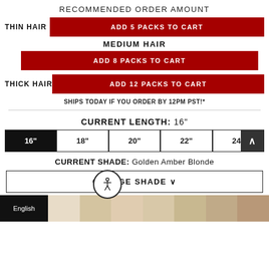RECOMMENDED ORDER AMOUNT
THIN HAIR — ADD 5 PACKS TO CART
MEDIUM HAIR
ADD 8 PACKS TO CART
THICK HAIR — ADD 12 PACKS TO CART
SHIPS TODAY IF YOU ORDER BY 12PM PST!*
CURRENT LENGTH: 16"
| 16" | 18" | 20" | 22" | 24" |
| --- | --- | --- | --- | --- |
CURRENT SHADE: Golden Amber Blonde
CHANGE SHADE ∨
[Figure (other): Hair color shade swatches in various blonde and brown shades, with a black panel labeled English and an accessibility icon overlay]